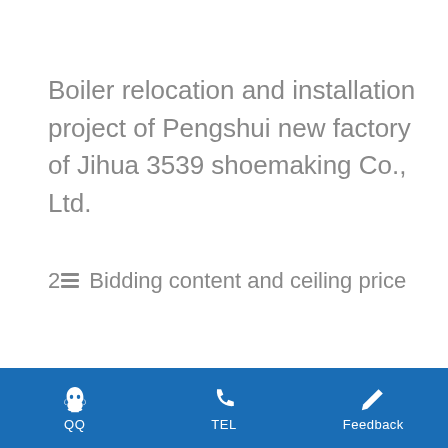Boiler relocation and installation project of Pengshui new factory of Jihua 3539 shoemaking Co., Ltd.
2 Bidding content and ceiling price
QQ  TEL  Feedback